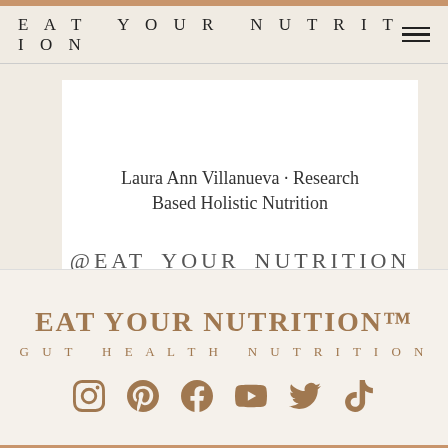EAT YOUR NUTRITION
Laura Ann Villanueva • Research Based Holistic Nutrition
@EAT_YOUR_NUTRITION
EAT YOUR NUTRITION™
GUT HEALTH NUTRITION
[Figure (other): Social media icons row: Instagram, Pinterest, Facebook, YouTube, Twitter, TikTok]